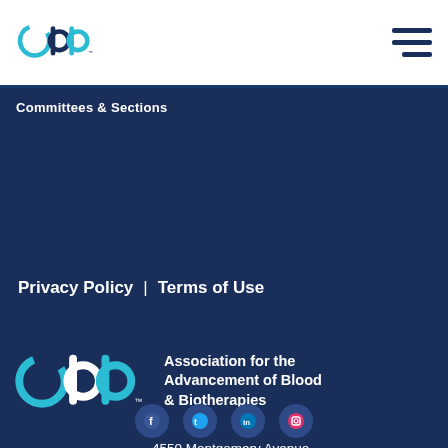[Figure (logo): AABB logo top left in header]
Committees & Sections
Privacy Policy  |  Terms of Use
[Figure (logo): AABB logo in footer with text: Association for the Advancement of Blood & Biotherapies]
4550 Montgomery Avenue
Suite 700, North Tower
Bethesda, MD 20814
301.907.6977
www.aabb.org
[Figure (other): Four social media circular icons at bottom]